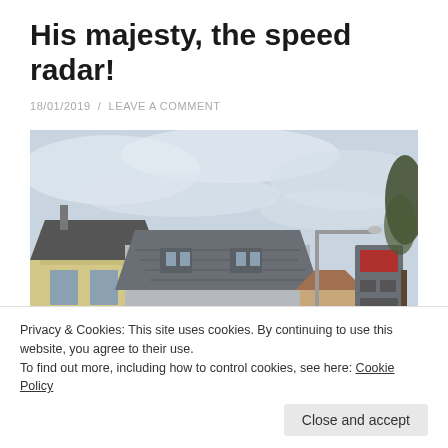His majesty, the speed radar!
18/01/2019  /  LEAVE A COMMENT
[Figure (photo): Street-level photograph showing residential buildings with tiled roofs, a street light, bare winter trees, and a grey speed radar/camera unit mounted on a pole on the right side. Overcast sky in the background.]
Privacy & Cookies: This site uses cookies. By continuing to use this website, you agree to their use.
To find out more, including how to control cookies, see here: Cookie Policy
Close and accept